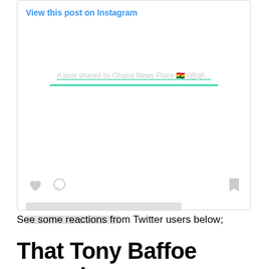[Figure (screenshot): Instagram embedded post placeholder showing 'View this post on Instagram' link in blue, heart and comment icons, bookmark icon, two grey placeholder text lines, and a shared-by link 'A post shared by Ghana News Place (@gh...' with a teal underline bar.]
See some reactions from Twitter users below;
That Tony Baffoe speech,